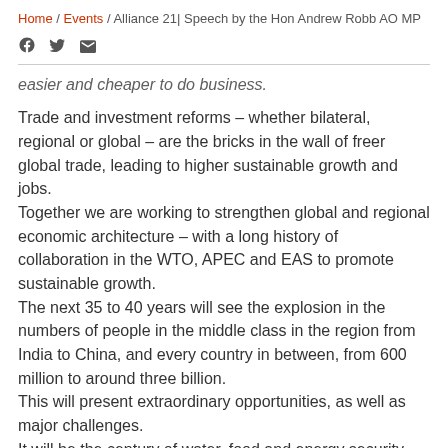Home / Events / Alliance 21| Speech by the Hon Andrew Robb AO MP
easier and cheaper to do business.
Trade and investment reforms – whether bilateral, regional or global – are the bricks in the wall of freer global trade, leading to higher sustainable growth and jobs.
Together we are working to strengthen global and regional economic architecture – with a long history of collaboration in the WTO, APEC and EAS to promote sustainable growth.
The next 35 to 40 years will see the explosion in the numbers of people in the middle class in the region from India to China, and every country in between, from 600 million to around three billion.
This will present extraordinary opportunities, as well as major challenges.
It will be the century of water, food and energy security